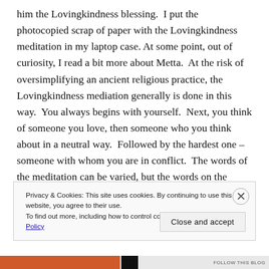him the Lovingkindness blessing.  I put the photocopied scrap of paper with the Lovingkindness meditation in my laptop case. At some point, out of curiosity, I read a bit more about Metta.  At the risk of oversimplifying an ancient religious practice, the Lovingkindness mediation generally is done in this way.  You always begins with yourself.  Next, you think of someone you love, then someone who you think about in a neutral way.  Followed by the hardest one – someone with whom you are in conflict.  The words of the meditation can be varied, but the words on the paper I was given
Privacy & Cookies: This site uses cookies. By continuing to use this website, you agree to their use.
To find out more, including how to control cookies, see here: Cookie Policy
Close and accept